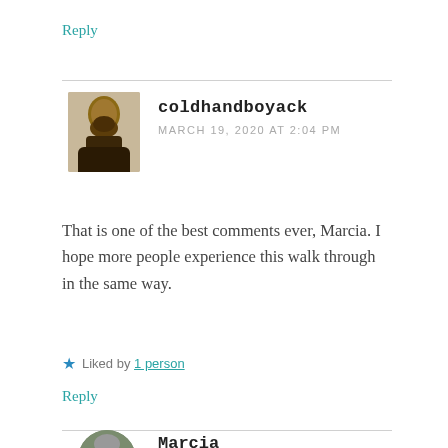Reply
coldhandboyack
MARCH 19, 2020 AT 2:04 PM
That is one of the best comments ever, Marcia. I hope more people experience this walk through in the same way.
★ Liked by 1 person
Reply
Marcia